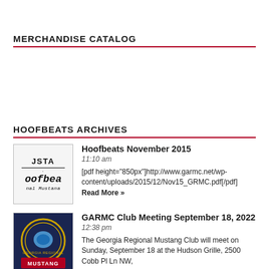MERCHANDISE CATALOG
HOOFBEATS ARCHIVES
Hoofbeats November 2015
11:10 am
[pdf height="850px"]http://www.garmc.net/wp-content/uploads/2015/12/Nov15_GRMC.pdf[/pdf] Read More »
GARMC Club Meeting September 18, 2022
12:38 pm
The Georgia Regional Mustang Club will meet on Sunday, September 18 at the Hudson Grille, 2500 Cobb Pl Ln NW,